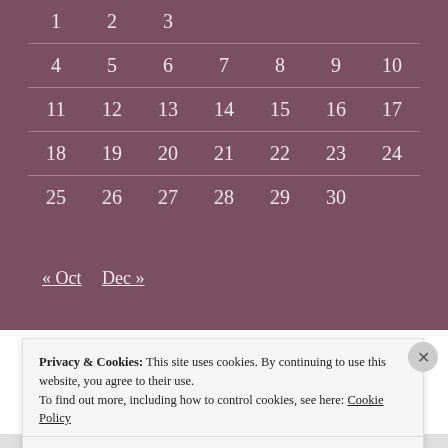|  |  |  |  |  |  |  |
| --- | --- | --- | --- | --- | --- | --- |
| 1 | 2 | 3 |  |  |  |  |
| 4 | 5 | 6 | 7 | 8 | 9 | 10 |
| 11 | 12 | 13 | 14 | 15 | 16 | 17 |
| 18 | 19 | 20 | 21 | 22 | 23 | 24 |
| 25 | 26 | 27 | 28 | 29 | 30 |  |
« Oct   Dec »
Privacy & Cookies: This site uses cookies. By continuing to use this website, you agree to their use. To find out more, including how to control cookies, see here: Cookie Policy
Close and accept